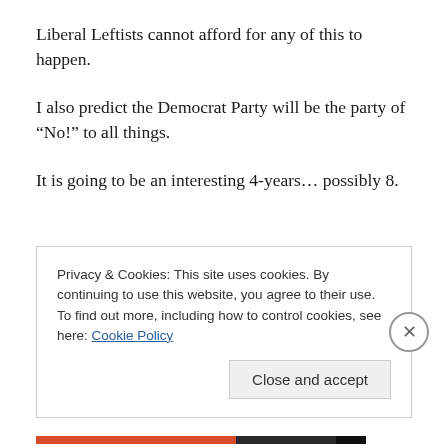Liberal Leftists cannot afford for any of this to happen.
I also predict the Democrat Party will be the party of “No!” to all things.
It is going to be an interesting 4-years… possibly 8.
Privacy & Cookies: This site uses cookies. By continuing to use this website, you agree to their use.
To find out more, including how to control cookies, see here: Cookie Policy